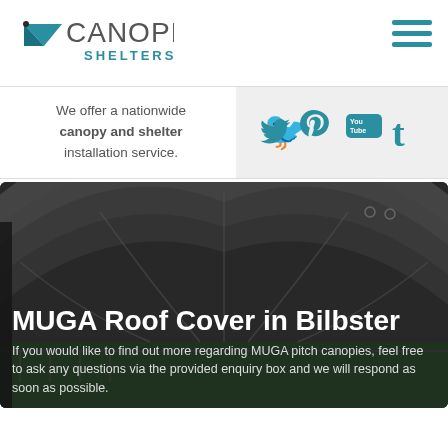[Figure (logo): Canopies Shelters logo with teal geometric bird/arrow shape and text CANOPIES SHELTERS]
[Figure (other): Hamburger menu icon with three teal horizontal lines]
We offer a nationwide canopy and shelter installation service.
[Figure (other): Social media icons: Twitter, Pinterest, YouTube, Tumblr in teal on light grey background]
[Figure (photo): MUGA pitch covered by large arched canopy structure, viewed from inside, with fence visible in background]
MUGA Roof Cover in Bilbster
If you would like to find out more regarding MUGA pitch canopies, feel free to ask any questions via the provided enquiry box and we will respond as soon as possible.